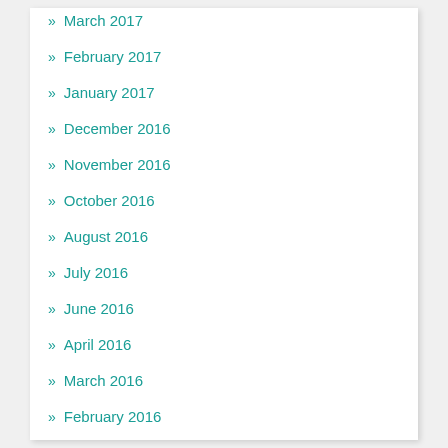» March 2017
» February 2017
» January 2017
» December 2016
» November 2016
» October 2016
» August 2016
» July 2016
» June 2016
» April 2016
» March 2016
» February 2016
» January 2016
» December 2015
» November 2015
» October 2015